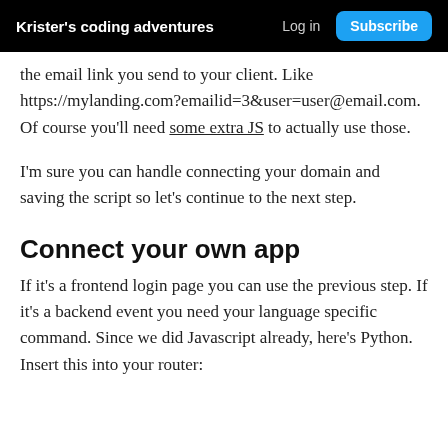Krister's coding adventures  Log in  Subscribe
the email link you send to your client. Like https://mylanding.com?emailid=3&user=user@email.com. Of course you'll need some extra JS to actually use those.
I'm sure you can handle connecting your domain and saving the script so let's continue to the next step.
Connect your own app
If it's a frontend login page you can use the previous step. If it's a backend event you need your language specific command. Since we did Javascript already, here's Python. Insert this into your router: